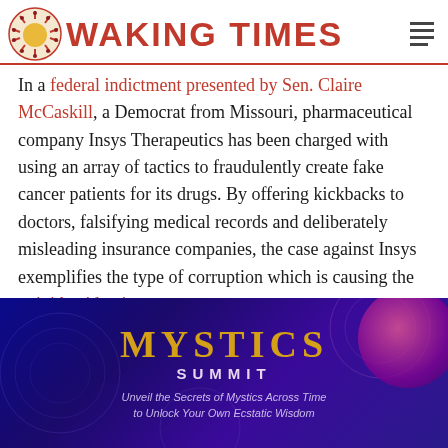WAKING TIMES
In a federal indictment presented by Sen. Claire McCaskill, a Democrat from Missouri, pharmaceutical company Insys Therapeutics has been charged with using an array of tactics to fraudulently create fake cancer patients for its drugs. By offering kickbacks to doctors, falsifying medical records and deliberately misleading insurance companies, the case against Insys exemplifies the type of corruption which is causing the opioid epidemic.
[Figure (illustration): Mystics Summit advertisement banner with dark blue/purple gradient background, gold text reading MYSTICS SUMMIT, subtitle Unveil the Secrets of Mystics Across Time to Unlock Your Own Ecstatic Wisdom, decorative orb and mandala patterns]